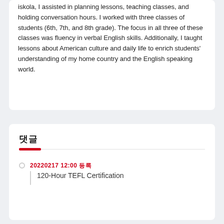iskola, I assisted in planning lessons, teaching classes, and holding conversation hours. I worked with three classes of students (6th, 7th, and 8th grade). The focus in all three of these classes was fluency in verbal English skills. Additionally, I taught lessons about American culture and daily life to enrich students' understanding of my home country and the English speaking world.
댓글
20220217 12:00 등록
120-Hour TEFL Certification